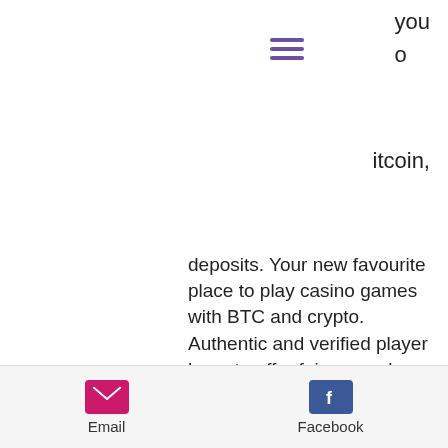you o
[Figure (other): Hamburger menu icon with three horizontal purple lines]
itcoin,
deposits. Your new favourite place to play casino games with BTC and crypto. Authentic and verified player base to offer fair gameplays, битстарз 30.
Note that your transaction is processed once the current block has finished processing, and this normally takes 10 minutes to several hours, битстарз 30.
In most no-registration Bitcoin casinos, you just need to deposit your BTC to a certain address and then start playing almost instantly. No-registration Bitcoin gambling sites guarantee anonymity and low cost of transferring funds because the transactions
Email  Facebook